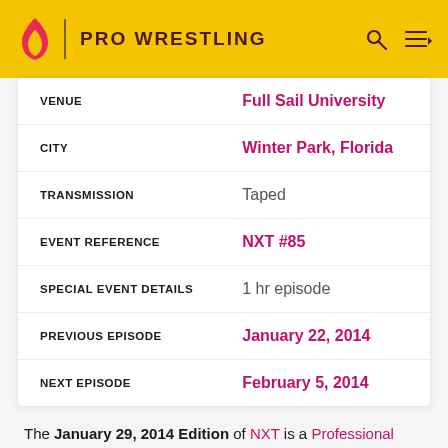PRO WRESTLING
| Field | Value |
| --- | --- |
| VENUE | Full Sail University |
| CITY | Winter Park, Florida |
| TRANSMISSION | Taped |
| EVENT REFERENCE | NXT #85 |
| SPECIAL EVENT DETAILS | 1 hr episode |
| PREVIOUS EPISODE | January 22, 2014 |
| NEXT EPISODE | February 5, 2014 |
The January 29, 2014 Edition of NXT is a Professional wrestling television show of the WWE, which took place at